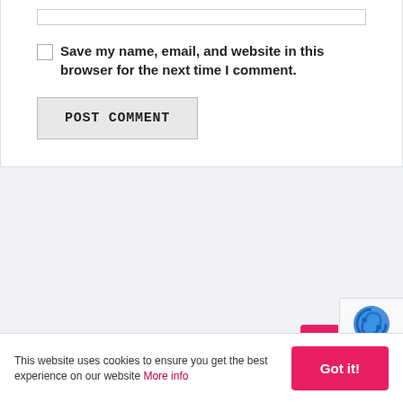Save my name, email, and website in this browser for the next time I comment.
POST COMMENT
This website uses cookies to ensure you get the best experience on our website More info
Got it!